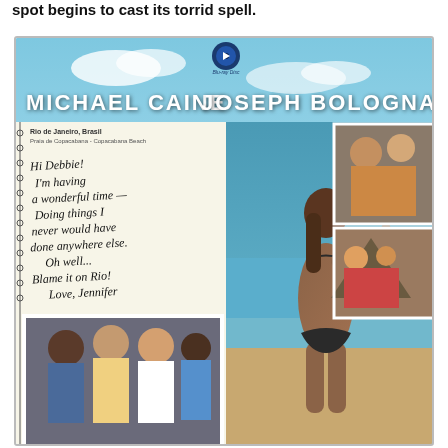spot begins to cast its torrid spell.
[Figure (photo): Blu-ray disc cover for a film featuring Michael Caine and Joseph Bologna. The cover shows a beach scene in Rio de Janeiro (Copacabana Beach), with a woman in a bikini on the beach, a handwritten postcard note reading 'Hi Debbie! I'm having a wonderful time — Doing things I never would have done anywhere else. Oh well... Blame it on Rio! Love, Jennifer', and smaller inset photos of the cast.]